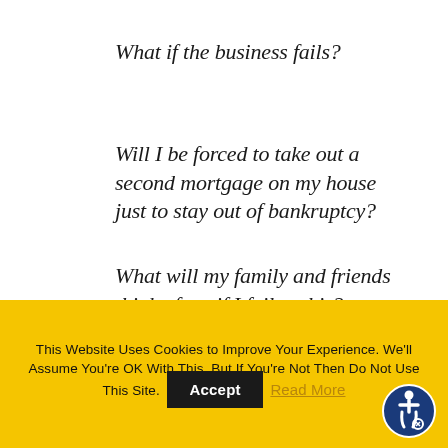What if the business fails?
Will I be forced to take out a second mortgage on my house just to stay out of bankruptcy?
What will my family and friends think of me if I fail at this?
This Website Uses Cookies to Improve Your Experience. We'll Assume You're OK With This, But If You're Not Then Do Not Use This Site. Accept Read More